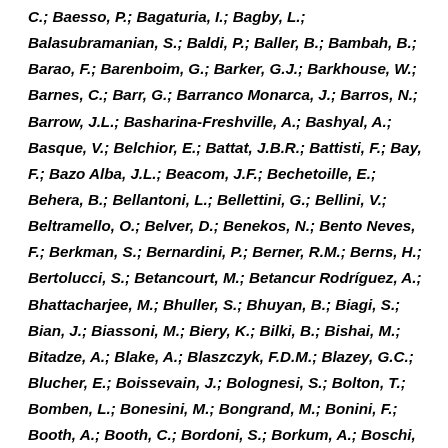C.; Baesso, P.; Bagaturia, I.; Bagby, L.; Balasubramanian, S.; Baldi, P.; Baller, B.; Bambah, B.; Barao, F.; Barenboim, G.; Barker, G.J.; Barkhouse, W.; Barnes, C.; Barr, G.; Barranco Monarca, J.; Barros, N.; Barrow, J.L.; Basharina-Freshville, A.; Bashyal, A.; Basque, V.; Belchior, E.; Battat, J.B.R.; Battisti, F.; Bay, F.; Bazo Alba, J.L.; Beacom, J.F.; Bechetoille, E.; Behera, B.; Bellantoni, L.; Bellettini, G.; Bellini, V.; Beltramello, O.; Belver, D.; Benekos, N.; Bento Neves, F.; Berkman, S.; Bernardini, P.; Berner, R.M.; Berns, H.; Bertolucci, S.; Betancourt, M.; Betancur Rodríguez, A.; Bhattacharjee, M.; Bhuller, S.; Bhuyan, B.; Biagi, S.; Bian, J.; Biassoni, M.; Biery, K.; Bilki, B.; Bishai, M.; Bitadze, A.; Blake, A.; Blaszczyk, F.D.M.; Blazey, G.C.; Blucher, E.; Boissevain, J.; Bolognesi, S.; Bolton, T.; Bomben, L.; Bonesini, M.; Bongrand, M.; Bonini, F.; Booth, A.; Booth, C.; Bordoni, S.; Borkum, A.; Boschi, T.; Bostan, N.; Bour, P.; Bourgeois, C.; Boyd, S.B.; Boyden, D.; Bracinik, J.; Braga,